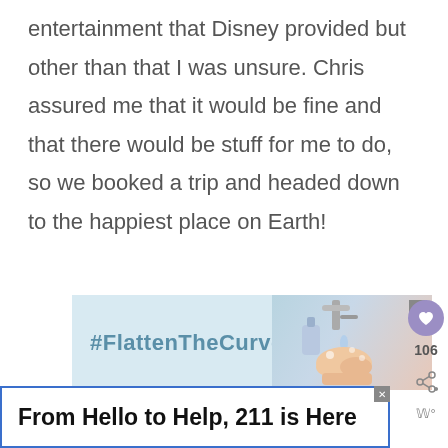entertainment that Disney provided but other than that I was unsure. Chris assured me that it would be fine and that there would be stuff for me to do, so we booked a trip and headed down to the happiest place on Earth!
[Figure (infographic): Advertisement banner showing #FlattenTheCurve hashtag with image of person washing hands at a faucet, with a close button (X) in top right corner]
[Figure (infographic): Sidebar UI elements: purple heart/like button, like count showing 106, share button, and microphone icon]
[Figure (infographic): Bottom advertisement with blue border reading 'From Hello to Help, 211 is Here' with a close (X) button]